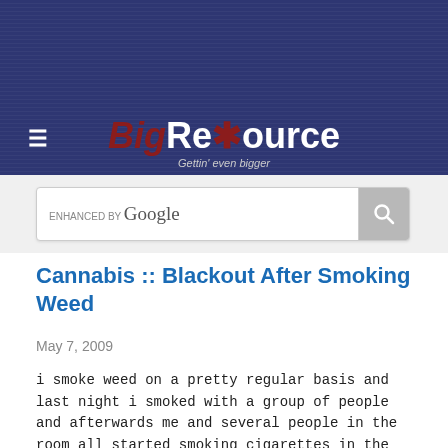[Figure (screenshot): Website header banner with dark navy blue striped background]
BigResource - Gettin' even bigger
Cannabis :: Blackout After Smoking Weed
May 7, 2009
i smoke weed on a pretty regular basis and last night i smoked with a group of people and afterwards me and several people in the room all started smoking cigarettes in the same room. it was a garage with the side door open. about half way through my cigarette i put it out and me and